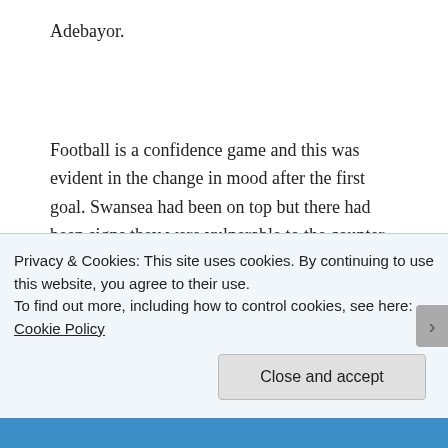Adebayor.
Football is a confidence game and this was evident in the change in mood after the first goal. Swansea had been on top but there had been signs they were vulnerable to the counter attack. Eriksen and Adebayor exploited this weakness to perfection. After the goal Swansea’s players, so composed until that point, appeared nervous. Now they looked like a team who hadn’t won in seven games.
Privacy & Cookies: This site uses cookies. By continuing to use this website, you agree to their use.
To find out more, including how to control cookies, see here: Cookie Policy